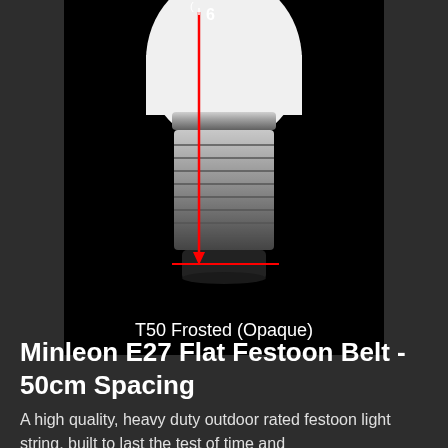[Figure (photo): Close-up photo of a T50 Frosted (Opaque) light bulb on black background, showing the frosted white globe top and chrome/silver screw base (E27 fitting). A red vertical arrow with a horizontal baseline indicates the bulb height measurement labeled '6' at the top.]
T50 Frosted (Opaque)
Minleon E27 Flat Festoon Belt - 50cm Spacing
A high quality, heavy duty outdoor rated festoon light string, built to last the test of time and